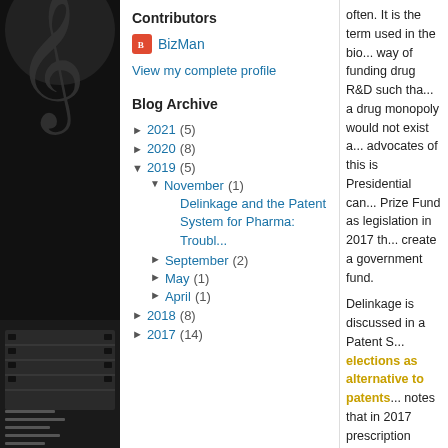[Figure (illustration): Black and white graphic with treble clef music note and film reel imagery on left sidebar]
Contributors
BizMan
View my complete profile
Blog Archive
2021 (5)
2020 (8)
2019 (5)
November (1)
Delinkage and the Patent System for Pharma: Troubl...
September (2)
May (1)
April (1)
2018 (8)
2017 (14)
often.  It is the term used in the bio... way of funding drug R&D such tha... a drug monopoly would not exist a... advocates of this is Presidential can... Prize Fund as legislation in 2017 th... create a government fund.
Delinkage is discussed in a Patent S... elections as alternative to patents... notes that in 2017 prescription drug spending was 17.9% of GDP.  That'... toward healthcare! That's approachi... included! The high price of drugs is... abound of grossly high prices for a ... because they cannot afford it.
“We cannot control costs, reduce ac... we change the way we finance biom... approach to bring policy coherence ... control.”  (Knowledge, Ecology Int...
The fact that this has been floating a... of momentum behind it.  Fundamen... would the money to fund multiple p... doesn’t work?  Who pays?  What w...